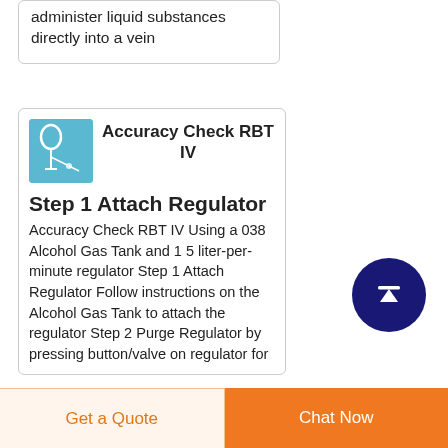administer liquid substances directly into a vein
Accuracy Check RBT IV
Step 1 Attach Regulator
Accuracy Check RBT IV Using a 038 Alcohol Gas Tank and 1 5 liter-per-minute regulator Step 1 Attach Regulator Follow instructions on the Alcohol Gas Tank to attach the regulator Step 2 Purge Regulator by pressing button/valve on regulator for
[Figure (illustration): Blue square thumbnail image of an IV line/catheter illustration]
[Figure (illustration): Dark blue circular button with white upward arrow icon]
Get a Quote
Chat Now